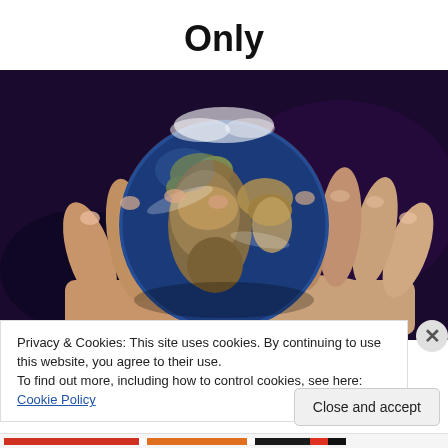Only
[Figure (photo): Hands holding a globe of the Earth against a dark purple/black background, showing Africa, Europe and the Middle East on the globe surface.]
Privacy & Cookies: This site uses cookies. By continuing to use this website, you agree to their use.
To find out more, including how to control cookies, see here: Cookie Policy